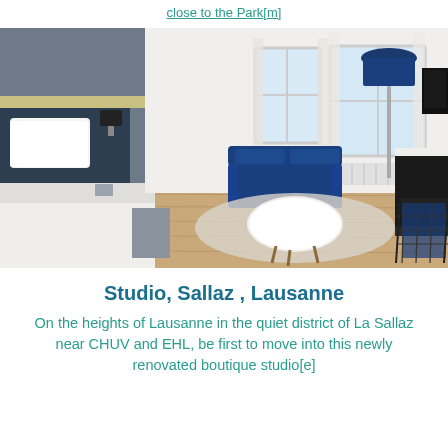close to the Park[m]
[Figure (photo): Interior photo of a modern studio apartment with a blue sofa, white oval coffee table, floor lamp with blue shade, two windows with sheer curtains, a white bed visible on the left, hardwood floors, and wire chairs at a white desk on the right.]
Studio, Sallaz , Lausanne
On the heights of Lausanne in the quiet district of La Sallaz near CHUV and EHL, be first to move into this newly renovated boutique studio[e]